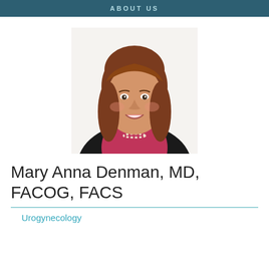ABOUT US
[Figure (photo): Professional headshot of Dr. Mary Anna Denman, a woman with shoulder-length auburn hair, smiling, wearing a black blazer over a magenta/pink top with a pearl necklace, white background.]
Mary Anna Denman, MD, FACOG, FACS
Urogynecology